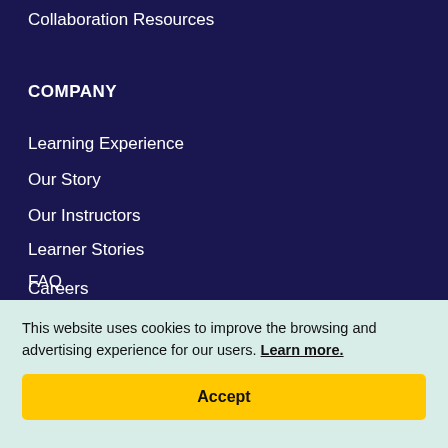Collaboration Resources
COMPANY
Learning Experience
Our Story
Our Instructors
Learner Stories
Refer a Friend
FAQ
Careers
This website uses cookies to improve the browsing and advertising experience for our users. Learn more.
Accept